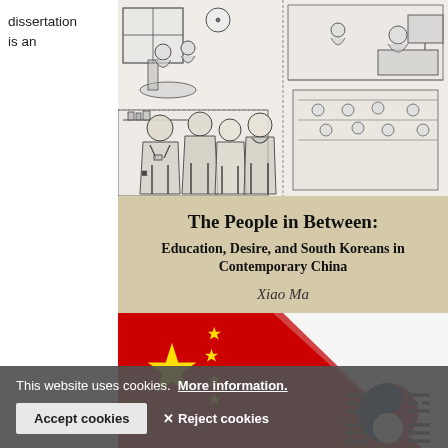dissertation is an
[Figure (illustration): Sketch-style illustration showing groups of people in various settings — a group portrait of four people, a classroom or office scene on the right, and a cafe or meeting scene at top left.]
The People in Between: Education, Desire, and South Koreans in Contemporary China
Xiao Ma
[Figure (illustration): Overlapping flags of China (red with yellow stars) and South Korea (Taegukgi with red circle and black trigrams on white), shown as if one peeling away from the other.]
This website uses cookies. More information.
Accept cookies
✕ Reject cookies